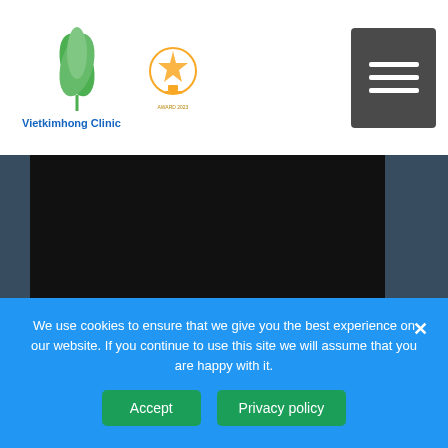[Figure (logo): Vietkimhong Clinic logo with green leaf emblem and gold award badge]
[Figure (screenshot): Dark/black video embed area]
Like Us On Facebook
Instagram
[Figure (logo): Instagram icon (red/pink camera icon)]
We use cookies to ensure that we give you the best experience on our website. If you continue to use this site we will assume that you are happy with it.
Accept
Privacy policy